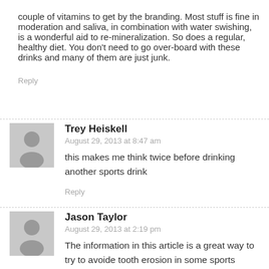couple of vitamins to get by the branding. Most stuff is fine in moderation and saliva, in combination with water swishing, is a wonderful aid to re-mineralization. So does a regular, healthy diet. You don't need to go over-board with these drinks and many of them are just junk.
Reply
Trey Heiskell
August 29, 2013 at 8:47 am
this makes me think twice before drinking another sports drink
Reply
Jason Taylor
August 29, 2013 at 2:19 pm
The information in this article is a great way to try to avoide tooth erosion in some sports drink.
Reply